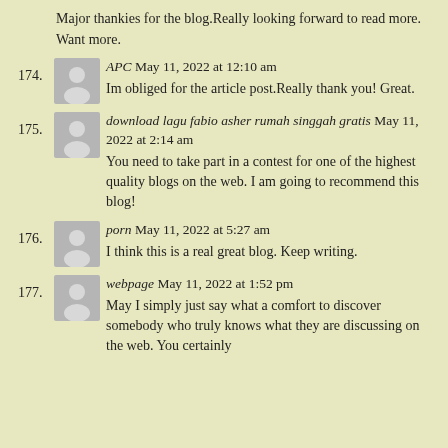Major thankies for the blog. Really looking forward to read more. Want more.
174. APC May 11, 2022 at 12:10 am
Im obliged for the article post. Really thank you! Great.
175. download lagu fabio asher rumah singgah gratis May 11, 2022 at 2:14 am
You need to take part in a contest for one of the highest quality blogs on the web. I am going to recommend this blog!
176. porn May 11, 2022 at 5:27 am
I think this is a real great blog. Keep writing.
177. webpage May 11, 2022 at 1:52 pm
May I simply just say what a comfort to discover somebody who truly knows what they are discussing on the web. You certainly